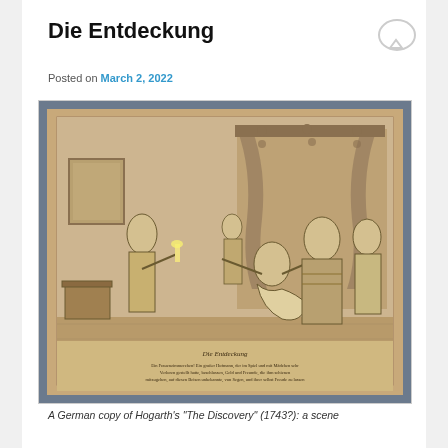Die Entdeckung
Posted on March 2, 2022
[Figure (illustration): A German copy of Hogarth's engraving 'Die Entdeckung' (The Discovery), showing several figures in 18th century dress in an interior scene with curtained bed. German caption text below the image.]
A German copy of Hogarth's "The Discovery" (1743?): a scene